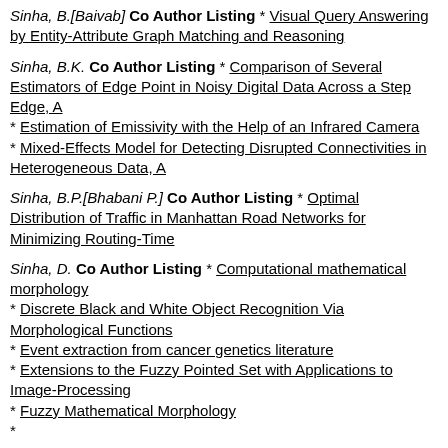Sinha, B.[Baivab] Co Author Listing * Visual Query Answering by Entity-Attribute Graph Matching and Reasoning
Sinha, B.K. Co Author Listing * Comparison of Several Estimators of Edge Point in Noisy Digital Data Across a Step Edge, A * Estimation of Emissivity with the Help of an Infrared Camera * Mixed-Effects Model for Detecting Disrupted Connectivities in Heterogeneous Data, A
Sinha, B.P.[Bhabani P.] Co Author Listing * Optimal Distribution of Traffic in Manhattan Road Networks for Minimizing Routing-Time
Sinha, D. Co Author Listing * Computational mathematical morphology * Discrete Black and White Object Recognition Via Morphological Functions * Event extraction from cancer genetics literature * Extensions to the Fuzzy Pointed Set with Applications to Image-Processing * Fuzzy Mathematical Morphology